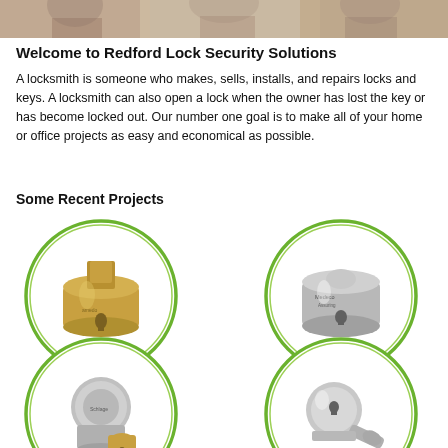[Figure (photo): Top banner photo showing people, partially cropped]
Welcome to Redford Lock Security Solutions
A locksmith is someone who makes, sells, installs, and repairs locks and keys. A locksmith can also open a lock when the owner has lost the key or has become locked out. Our number one goal is to make all of your home or office projects as easy and economical as possible.
Some Recent Projects
[Figure (photo): Brass lock cylinder]
[Figure (photo): Silver/chrome lock cylinder]
[Figure (photo): Deadbolt lock mechanism]
[Figure (photo): Cam lock mechanism]